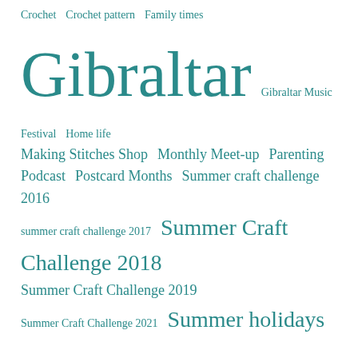Crochet  Crochet pattern  Family times  Gibraltar  Gibraltar Music Festival  Home life  Making Stitches Shop  Monthly Meet-up  Parenting  Podcast  Postcard Months  Summer craft challenge 2016  summer craft challenge 2017  Summer Craft Challenge 2018  Summer Craft Challenge 2019  Summer Craft Challenge 2021  Summer holidays  Sunday Postcard  Sunday Sevens  Up the Garden Path  Weather
Blogs I Follow
Emmaknitty